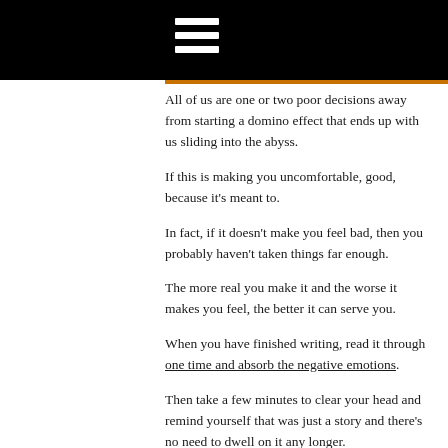≡
All of us are one or two poor decisions away from starting a domino effect that ends up with us sliding into the abyss.
If this is making you uncomfortable, good, because it's meant to.
In fact, if it doesn't make you feel bad, then you probably haven't taken things far enough.
The more real you make it and the worse it makes you feel, the better it can serve you.
When you have finished writing, read it through one time and absorb the negative emotions.
Then take a few minutes to clear your head and remind yourself that was just a story and there's no need to dwell on it any longer.
LIFE GOES RIGHT – VERY RIGHT
Now to the good stuff.